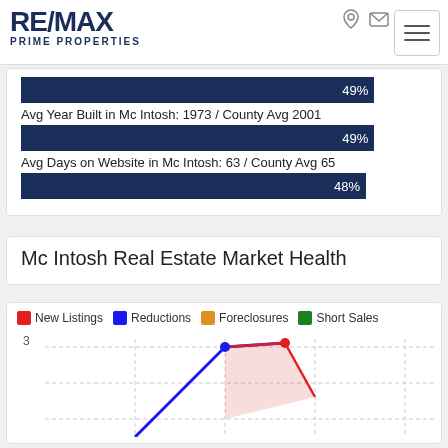[Figure (logo): RE/MAX Prime Properties logo]
49%
Avg Year Built in Mc Intosh: 1973 / County Avg 2001
49%
Avg Days on Website in Mc Intosh: 63 / County Avg 65
48%
Mc Intosh Real Estate Market Health
[Figure (line-chart): Line chart showing New Listings, Reductions, Foreclosures, Short Sales over time. Y-axis shows value of 3 visible. Partial chart cut off at bottom.]